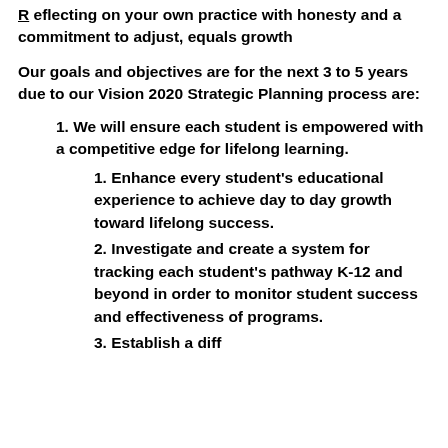R eflecting on your own practice with honesty and a commitment to adjust, equals growth
Our goals and objectives are for the next 3 to 5 years due to our Vision 2020 Strategic Planning process are:
1. We will ensure each student is empowered with a competitive edge for lifelong learning.
1. Enhance every student's educational experience to achieve day to day growth toward lifelong success.
2. Investigate and create a system for tracking each student's pathway K-12 and beyond in order to monitor student success and effectiveness of programs.